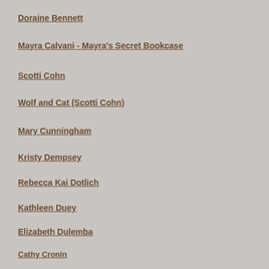Doraine Bennett
Mayra Calvani - Mayra's Secret Bookcase
Scotti Cohn
Wolf and Cat (Scotti Cohn)
Mary Cunningham
Kristy Dempsey
Rebecca Kai Dotlich
Kathleen Duey
Elizabeth Dulemba
Cathy Cronin
Sarah C. Campbell